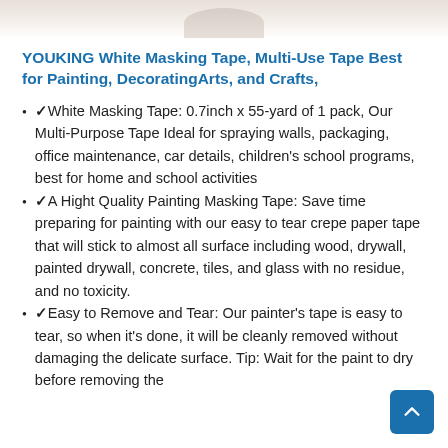[Figure (photo): Partial product image at top of page showing bottom edge of a product]
YOUKING White Masking Tape, Multi-Use Tape Best for Painting, DecoratingArts, and Crafts,
✓White Masking Tape: 0.7inch x 55-yard of 1 pack, Our Multi-Purpose Tape Ideal for spraying walls, packaging, office maintenance, car details, children's school programs, best for home and school activities
✓A Hight Quality Painting Masking Tape: Save time preparing for painting with our easy to tear crepe paper tape that will stick to almost all surface including wood, drywall, painted drywall, concrete, tiles, and glass with no residue, and no toxicity.
✓Easy to Remove and Tear: Our painter's tape is easy to tear, so when it's done, it will be cleanly removed without damaging the delicate surface. Tip: Wait for the paint to dry before removing the